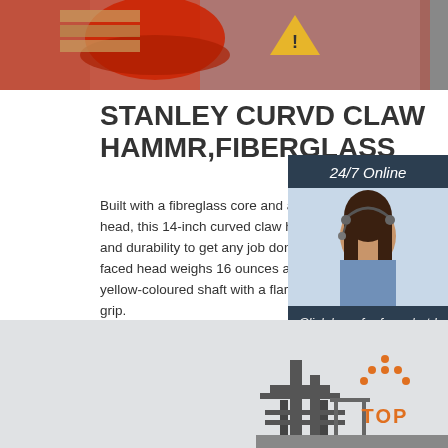[Figure (photo): Top banner photo showing red safety equipment and machinery in a workshop setting]
STANLEY CURVD CLAW HAMMR,FIBERGLASS
Built with a fibreglass core and a forged high-c head, this 14-inch curved claw hammer has th and durability to get any job done. The 1 1/8-in faced head weighs 16 ounces and is connecte yellow-coloured shaft with a flared, ergonomic grip.
[Figure (photo): Sidebar showing 24/7 Online chat support with woman wearing headset, dark blue background, orange QUOTATION button]
Get Price
[Figure (photo): Bottom section showing industrial machinery silhouette and a TOP back-to-top icon in orange]
[Figure (infographic): TOP icon with orange dots forming an upward arrow above the word TOP in orange text]